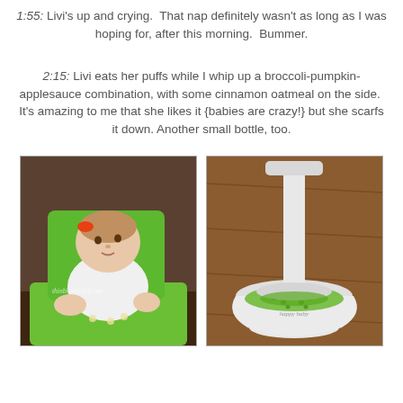1:55: Livi's up and crying.  That nap definitely wasn't as long as I was hoping for, after this morning.  Bummer.
2:15: Livi eats her puffs while I whip up a broccoli-pumpkin-applesauce combination, with some cinnamon oatmeal on the side.  It's amazing to me that she likes it {babies are crazy!} but she scarfs it down. Another small bottle, too.
[Figure (photo): Baby girl with orange hair clip sitting in a green high chair, looking to the side. Watermark reads thinblonnedlife.net]
[Figure (photo): White baby food mill/strainer with green pureed food (broccoli mixture) being processed through it, on a wooden table surface. Happy baby branded mill.]